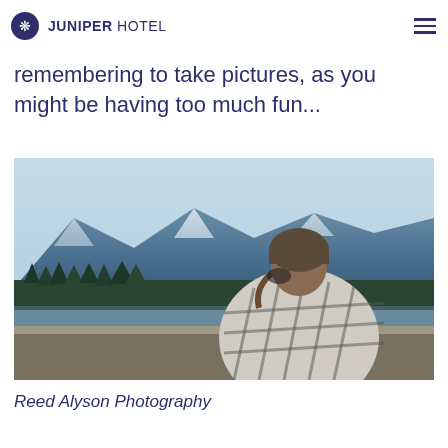JUNIPER HOTEL
remembering to take pictures, as you might be having too much fun...
[Figure (photo): A woman wearing a brown beanie hat and a plaid blanket/sweater viewed from behind, sitting on a railing overlooking a snowy mountain landscape with pine trees and a lake.]
Reed Alyson Photography